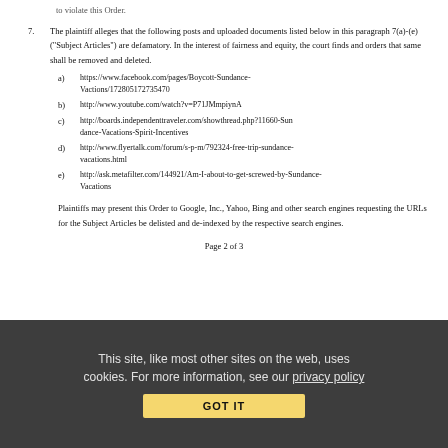to violate this Order.
7. The plaintiff alleges that the following posts and uploaded documents listed below in this paragraph 7(a)-(e) ("Subject Articles") are defamatory. In the interest of fairness and equity, the court finds and orders that same shall be removed and deleted.
a) https://www.facebook.com/pages/Boycott-Sundance-Vactions/172805172735470
b) http://www.youtube.com/watch?v=P71JMmpiynA
c) http://boards.independenttraveler.com/showthread.php?11660-Sundance-Vacations-Spirit-Incentives
d) http://www.flyertalk.com/forum/s-p-m/792324-free-trip-sundance-vacations.html
e) http://ask.metafilter.com/144921/Am-I-about-to-get-screwed-by-Sundance-Vacations
Plaintiffs may present this Order to Google, Inc., Yahoo, Bing and other search engines requesting the URLs for the Subject Articles be delisted and de-indexed by the respective search engines.
Page 2 of 3
This site, like most other sites on the web, uses cookies. For more information, see our privacy policy GOT IT